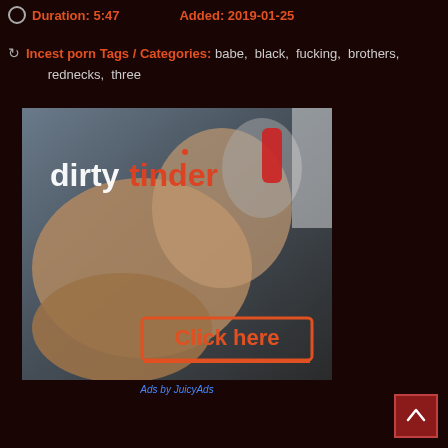Duration: 5:47    Added: 2019-01-25
Incest porn Tags / Categories: babe, black, fucking, brothers, rednecks, three
[Figure (photo): Advertisement banner for 'dirtytinder' with 'Click here' button overlay]
Ads by JuicyAds
[Figure (other): Back to top arrow button]